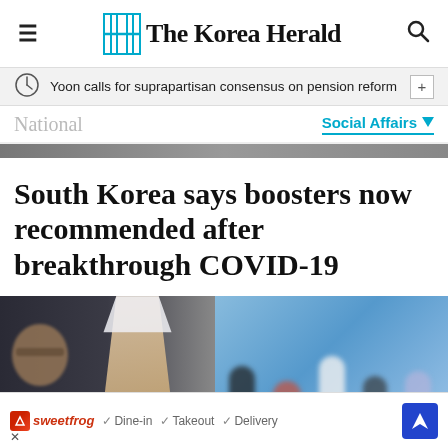The Korea Herald
Yoon calls for suprapartisan consensus on pension reform
National
Social Affairs
South Korea says boosters now recommended after breakthrough COVID-19
[Figure (photo): Photo showing a person receiving a vaccination shot on the left side, and blurred figures with raised arms on a blue background on the right side]
Dine-in  Takeout  Delivery